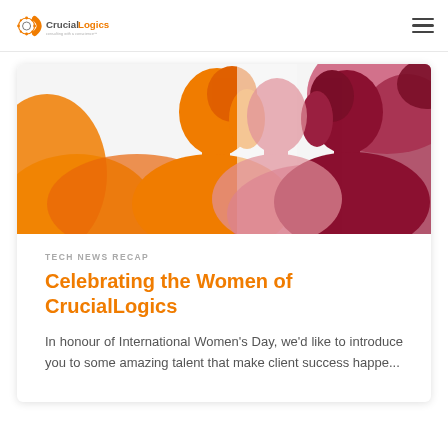CrucialLogics — consulting with a conscience™
[Figure (illustration): Decorative illustration of three women's silhouettes in orange, yellow, white and pink/maroon tones for International Women's Day]
TECH NEWS RECAP
Celebrating the Women of CrucialLogics
In honour of International Women's Day, we'd like to introduce you to some amazing talent that make client success happe...